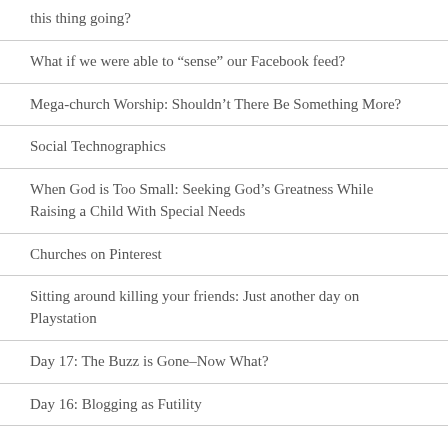this thing going?
What if we were able to “sense” our Facebook feed?
Mega-church Worship: Shouldn’t There Be Something More?
Social Technographics
When God is Too Small: Seeking God’s Greatness While Raising a Child With Special Needs
Churches on Pinterest
Sitting around killing your friends: Just another day on Playstation
Day 17: The Buzz is Gone–Now What?
Day 16: Blogging as Futility